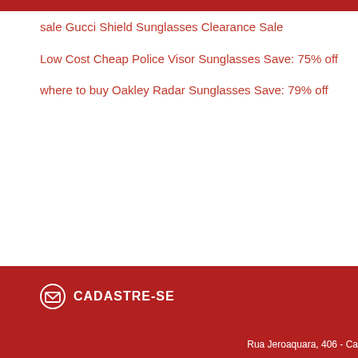sale Gucci Shield Sunglasses Clearance Sale
Low Cost Cheap Police Visor Sunglasses Save: 75% off
where to buy Oakley Radar Sunglasses Save: 79% off
CADASTRE-SE
Rua Jeroaquara, 406 - Ca